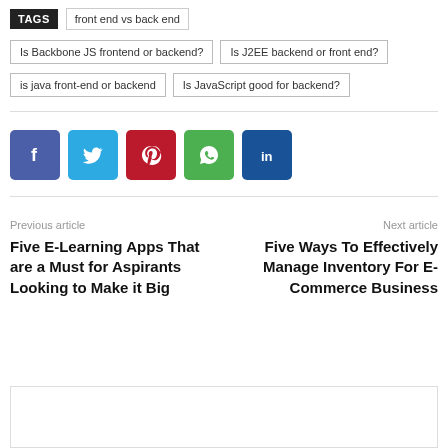TAGS   front end vs back end
Is Backbone JS frontend or backend?
Is J2EE backend or front end?
is java front-end or backend
Is JavaScript good for backend?
[Figure (infographic): Social share buttons: Facebook (blue-purple), Twitter (light blue), Pinterest (red), WhatsApp (green), LinkedIn (dark blue)]
Previous article
Five E-Learning Apps That are a Must for Aspirants Looking to Make it Big
Next article
Five Ways To Effectively Manage Inventory For E-Commerce Business